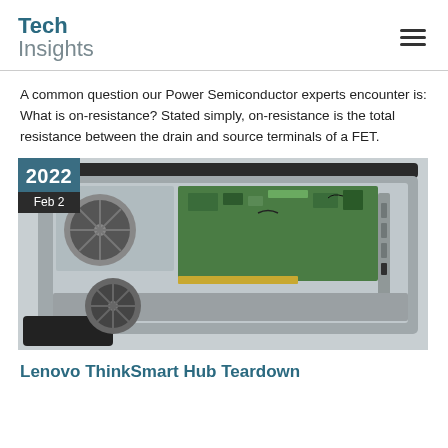Tech Insights
A common question our Power Semiconductor experts encounter is: What is on-resistance? Stated simply, on-resistance is the total resistance between the drain and source terminals of a FET.
[Figure (photo): Disassembled Lenovo ThinkSmart Hub showing internal components including cooling fans, motherboard/PCB with components, and chassis, viewed from above at an angle. Date badge overlay shows 2022 / Feb 2.]
Lenovo ThinkSmart Hub Teardown